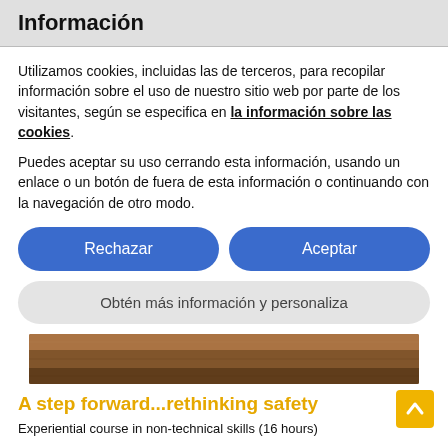Información
Utilizamos cookies, incluidas las de terceros, para recopilar información sobre el uso de nuestro sitio web por parte de los visitantes, según se especifica en la información sobre las cookies.
Puedes aceptar su uso cerrando esta información, usando un enlace o un botón de fuera de esta información o continuando con la navegación de otro modo.
Rechazar
Aceptar
Obtén más información y personaliza
[Figure (photo): Partial image of hands or people, brown tones, course banner.]
A step forward...rethinking safety
Experiential course in non-technical skills (16 hours)